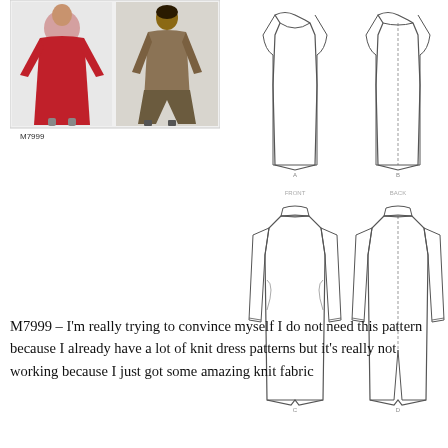[Figure (photo): Photo collage showing two women wearing knit dresses – one in a red long-sleeve fitted dress with a slit, another in a brown/khaki wide-leg ensemble. Labeled M7999 below.]
[Figure (illustration): Sewing pattern technical drawings for M7999 showing four flat sketches of dresses – front and back views of two dress styles: a sleeveless scoop-neck dress and a long-sleeve turtleneck dress/coat with a back slit.]
M7999 – I'm really trying to convince myself I do not need this pattern because I already have a lot of knit dress patterns but it's really not working because I just got some amazing knit fabric